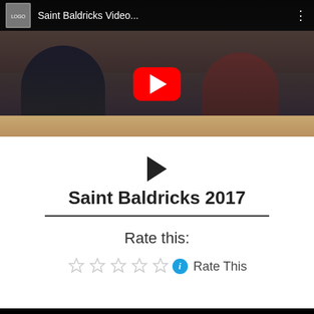[Figure (screenshot): YouTube video thumbnail showing 'Saint Baldricks Video...' with a group of people, featuring the red YouTube play button overlay]
[Figure (screenshot): White card UI with play triangle icon, title 'Saint Baldricks 2017', horizontal divider, 'Rate this:' label, five empty star icons, an info badge, and 'Rate This' text]